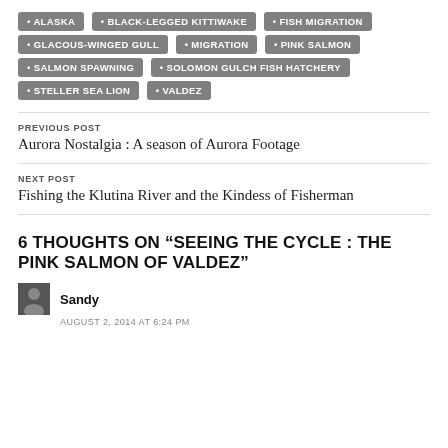ALASKA
BLACK-LEGGED KITTIWAKE
FISH MIGRATION
GLACOUS-WINGED GULL
MIGRATION
PINK SALMON
SALMON SPAWNING
SOLOMON GULCH FISH HATCHERY
STELLER SEA LION
VALDEZ
PREVIOUS POST
Aurora Nostalgia : A season of Aurora Footage
NEXT POST
Fishing the Klutina River and the Kindess of Fisherman
6 THOUGHTS ON “SEEING THE CYCLE : THE PINK SALMON OF VALDEZ”
Sandy
AUGUST 2, 2014 AT 6:24 PM